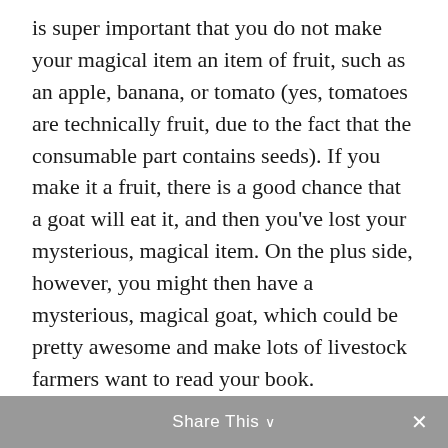is super important that you do not make your magical item an item of fruit, such as an apple, banana, or tomato (yes, tomatoes are technically fruit, due to the fact that the consumable part contains seeds). If you make it a fruit, there is a good chance that a goat will eat it, and then you've lost your mysterious, magical item. On the plus side, however, you might then have a mysterious, magical goat, which could be pretty awesome and make lots of livestock farmers want to read your book.
2. Unpronounceable Names, often with Apostrophes: “Are You Choking or is that Your Name?”
Share This ∨  ×